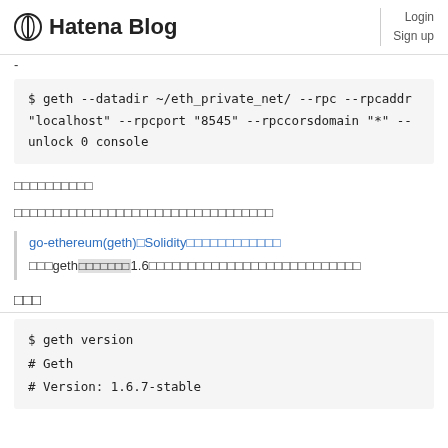Hatena Blog  Login  Sign up
-
$ geth --datadir ~/eth_private_net/ --rpc --rpcaddr "localhost" --rpcport "8545" --rpccorsdomain "*" --unlock 0 console
□□□□□□□□□□
□□□□□□□□□□□□□□□□□□□□□□□□□□□□□□□□□
go-ethereum(geth)□Solidity□□□□□□□□□□□□
□□□geth□□□□□□□1.6□□□□□□□□□□□□□□□□□□□□□□□□□□□
□□□
$ geth version
# Geth
# Version: 1.6.7-stable